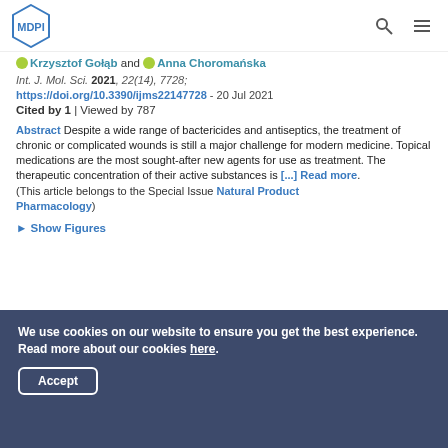MDPI logo with search and menu icons
Krzysztof Gołąb and Anna Choromańska
Int. J. Mol. Sci. 2021, 22(14), 7728;
https://doi.org/10.3390/ijms22147728 - 20 Jul 2021
Cited by 1 | Viewed by 787
Abstract Despite a wide range of bactericides and antiseptics, the treatment of chronic or complicated wounds is still a major challenge for modern medicine. Topical medications are the most sought-after new agents for use as treatment. The therapeutic concentration of their active substances is [...] Read more. (This article belongs to the Special Issue Natural Product Pharmacology)
► Show Figures
We use cookies on our website to ensure you get the best experience. Read more about our cookies here.
Accept